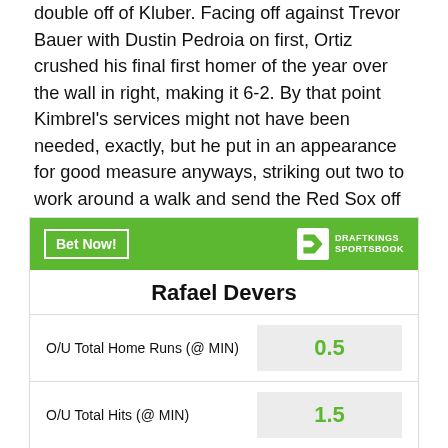double off of Kluber. Facing off against Trevor Bauer with Dustin Pedroia on first, Ortiz crushed his final first homer of the year over the wall in right, making it 6-2. By that point Kimbrel's services might not have been needed, exactly, but he put in an appearance for good measure anyways, striking out two to work around a walk and send the Red Sox off with a win.
[Figure (infographic): DraftKings Sportsbook betting widget for Rafael Devers showing O/U props: O/U Total Home Runs (@ MIN) 0.5, O/U Total Hits (@ MIN) 1.5, O/U Total Singles (@ MIN) 0.5]
| Prop | Line |
| --- | --- |
| O/U Total Home Runs (@ MIN) | 0.5 |
| O/U Total Hits (@ MIN) | 1.5 |
| O/U Total Singles (@ MIN) | 0.5 |